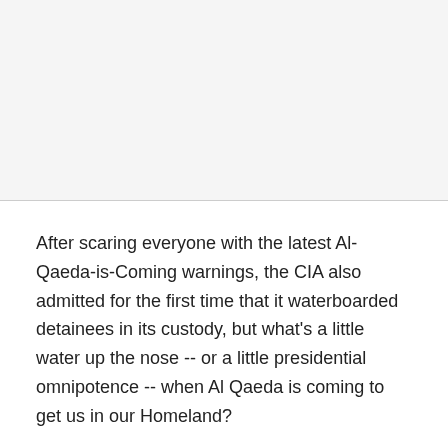After scaring everyone with the latest Al-Qaeda-is-Coming warnings, the CIA also admitted for the first time that it waterboarded detainees in its custody, but what's a little water up the nose -- or a little presidential omnipotence -- when Al Qaeda is coming to get us in our Homeland?